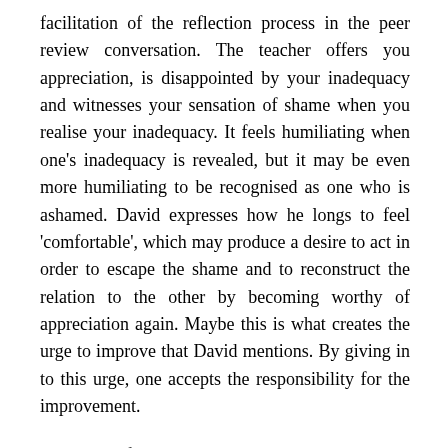facilitation of the reflection process in the peer review conversation. The teacher offers you appreciation, is disappointed by your inadequacy and witnesses your sensation of shame when you realise your inadequacy. It feels humiliating when one's inadequacy is revealed, but it may be even more humiliating to be recognised as one who is ashamed. David expresses how he longs to feel 'comfortable', which may produce a desire to act in order to escape the shame and to reconstruct the relation to the other by becoming worthy of appreciation again. Maybe this is what creates the urge to improve that David mentions. By giving in to this urge, one accepts the responsibility for the improvement.
The sense of shame that may be produced by ALM may also make the individual assume responsibility for restoring the relation to the other. In the movement from being wrong to trying to improve lies a crucial difference between the 'naughty corner' and the self-technology based on